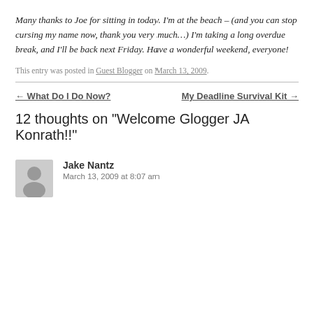Many thanks to Joe for sitting in today. I'm at the beach – (and you can stop cursing my name now, thank you very much…) I'm taking a long overdue break, and I'll be back next Friday. Have a wonderful weekend, everyone!
This entry was posted in Guest Blogger on March 13, 2009.
← What Do I Do Now?
My Deadline Survival Kit →
12 thoughts on "Welcome Glogger JA Konrath!!"
Jake Nantz
March 13, 2009 at 8:07 am